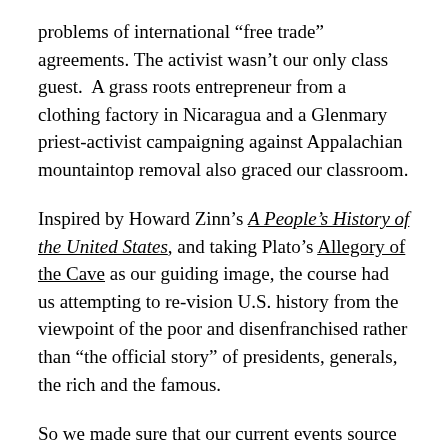problems of international “free trade” agreements. The activist wasn’t our only class guest.  A grass roots entrepreneur from a clothing factory in Nicaragua and a Glenmary priest-activist campaigning against Appalachian mountaintop removal also graced our classroom.
Inspired by Howard Zinn’s A People’s History of the United States, and taking Plato’s Allegory of the Cave as our guiding image, the course had us attempting to re-vision U.S. history from the viewpoint of the poor and disenfranchised rather than “the official story” of presidents, generals, the rich and the famous.
So we made sure that our current events source reflected those usually neglected viewpoints. To that end, students watched and reported regularly on “Democracy Now.” We even spent some class time